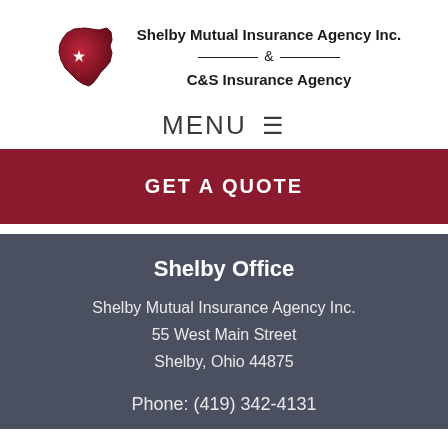[Figure (logo): Ohio state outline map in dark red/maroon with a white star, representing Shelby Mutual Insurance Agency logo]
Shelby Mutual Insurance Agency Inc. & C&S Insurance Agency
MENU ≡
GET A QUOTE
Shelby Office
Shelby Mutual Insurance Agency Inc.
55 West Main Street
Shelby, Ohio 44875
Phone: (419) 342-4131